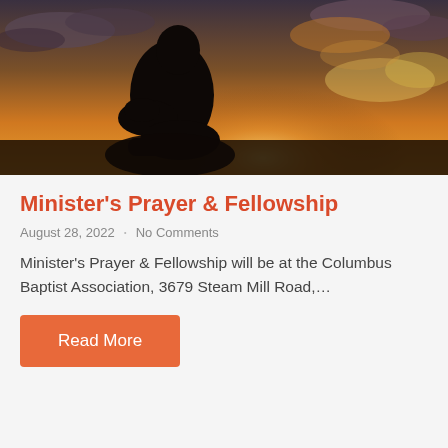[Figure (photo): Silhouette of a person kneeling in prayer against a golden sunset sky with clouds]
Minister's Prayer & Fellowship
August 28, 2022  ·  No Comments
Minister's Prayer & Fellowship will be at the Columbus Baptist Association, 3679 Steam Mill Road,…
Read More